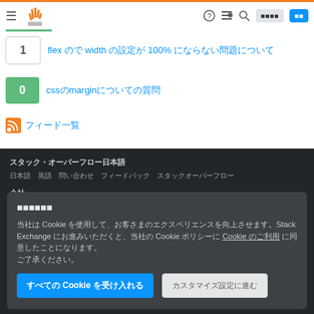Stack Overflow navigation bar with menu, logo, help, chat, search, login buttons
flex での width の設定が 100% にならない問題について
cssのmarginについての質問
RSSフィード
スタック・オーバーフロー 日本語 会社 情報 採用情報 スタック・エクスチェンジについて Stack Overflow Teams Advertising Collectives Talent 法 Press フィードバック
Cookieの設定 当社は Cookie を使用して、お客さまのエクスペリエンスを向上させます。Stack Exchange にお進みいただくと、当社の Cookie ポリシーに Cookie のご利用 に同意したことになります。ご了承ください。 すべての Cookie を受け入れる カスタマイズ設定に進む